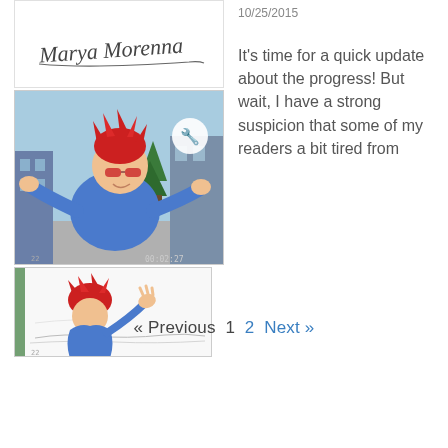[Figure (illustration): Handwritten signature reading 'MARYA MORENNA' in stylized script on white background]
[Figure (illustration): Colored manga/comic panel showing a red-haired character in a blue jacket gesturing with hands open, set against a blue sky with city buildings and a pine tree]
[Figure (illustration): Sketch/line-art comic panel showing the same red-haired character from behind, waving, with rough pencil-style linework]
10/25/2015
It's time for a quick update about the progress! But wait, I have a strong suspicion that some of my readers a bit tired from
« Previous  1  2  Next »